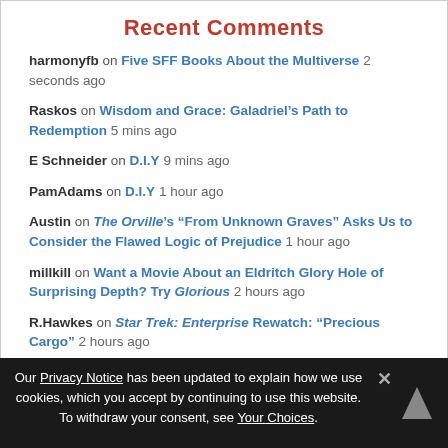Recent Comments
harmonyfb on Five SFF Books About the Multiverse 2 seconds ago
Raskos on Wisdom and Grace: Galadriel’s Path to Redemption 5 mins ago
E Schneider on D.I.Y 9 mins ago
PamAdams on D.I.Y 1 hour ago
Austin on The Orville’s “From Unknown Graves” Asks Us to Consider the Flawed Logic of Prejudice 1 hour ago
millkill on Want a Movie About an Eldritch Glory Hole of Surprising Depth? Try Glorious 2 hours ago
R.Hawkes on Star Trek: Enterprise Rewatch: “Precious Cargo” 2 hours ago
Tyerone on D.I.Y 2 hours ago
Our Privacy Notice has been updated to explain how we use cookies, which you accept by continuing to use this website. To withdraw your consent, see Your Choices.